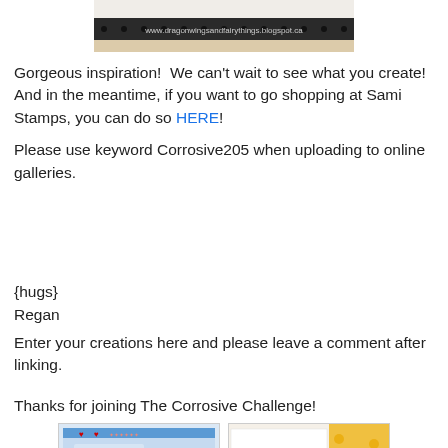[Figure (photo): Cropped top portion of a blog watermark image showing the URL www.dragonwingsandfairythings.blogspot.ca on a dark ruler/banner]
Gorgeous inspiration!  We can't wait to see what you create!  And in the meantime, if you want to go shopping at Sami Stamps, you can do so HERE!
Please use keyword Corrosive205 when uploading to online galleries.
{hugs}
Regan
Enter your creations here and please leave a comment after linking.
Thanks for joining The Corrosive Challenge!
[Figure (photo): Thumbnail of a birthday card featuring a cartoon boy character with Happy Birthday text, blue border with hearts]
[Figure (photo): Thumbnail of a card interior with Happy Birthday script text, yellow spotty background visible on the right]